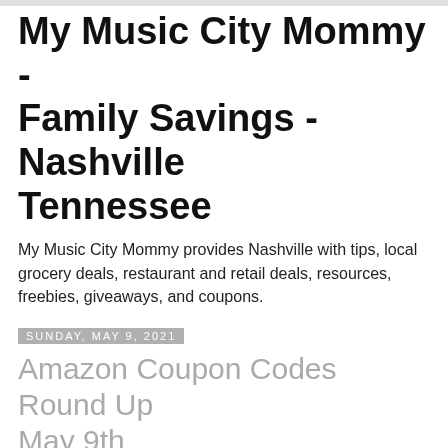My Music City Mommy - Family Savings - Nashville Tennessee
My Music City Mommy provides Nashville with tips, local grocery deals, restaurant and retail deals, resources, freebies, giveaways, and coupons.
Sunday, May 9, 2021
Amazon Coupon Codes Round Up May 9th
[Figure (photo): Three product images side by side: a UV nail lamp (white device), an outdoor splash pad sprinkler toy for kids (blue paw-shaped mat with water spraying), and black women's leggings with phone pocket.]